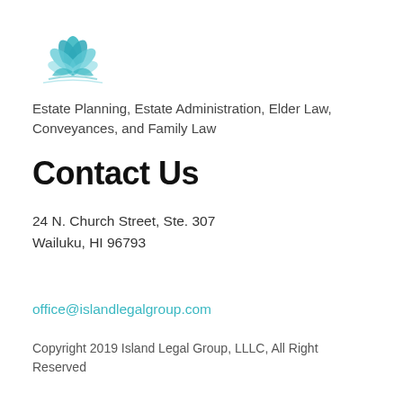[Figure (logo): Teal lotus flower logo for Island Legal Group]
Estate Planning, Estate Administration, Elder Law, Conveyances, and Family Law
Contact Us
24 N. Church Street, Ste. 307
Wailuku, HI 96793
office@islandlegalgroup.com
Copyright 2019 Island Legal Group, LLLC, All Right Reserved